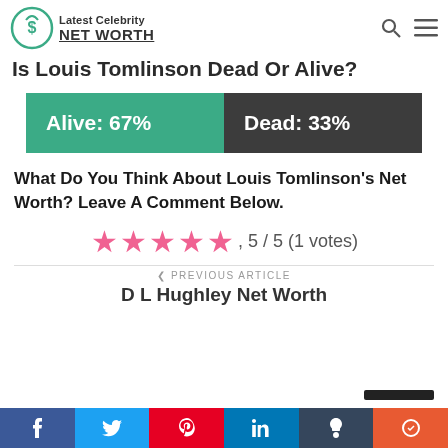Latest Celebrity NET WORTH
Is Louis Tomlinson Dead Or Alive?
[Figure (infographic): Two colored boxes: Alive 67% (teal/green) and Dead 33% (dark grey)]
What Do You Think About Louis Tomlinson's Net Worth? Leave A Comment Below.
[Figure (infographic): 5 pink stars rating display: 5 / 5 (1 votes)]
< PREVIOUS ARTICLE
D L Hughley Net Worth
Social share bar: Facebook, Twitter, Pinterest, LinkedIn, Tumblr, Reddit